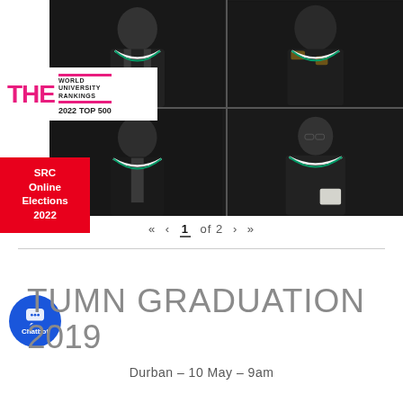[Figure (photo): 2x2 grid of graduation photos showing graduates in academic gowns against a dark curtain background]
[Figure (logo): THE World University Rankings 2022 Top 500 badge/logo]
[Figure (infographic): Red SRC Online Elections 2022 banner]
« ‹ 1 of 2 › »
AUTUMN GRADUATION 2019
Durban – 10 May – 9am
[Figure (infographic): Blue circular chatbot button with chat icon and label 'Chatbot']